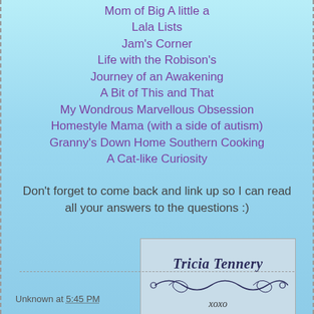Mom of Big A little a
Lala Lists
Jam's Corner
Life with the Robison's
Journey of an Awakening
A Bit of This and That
My Wondrous Marvellous Obsession
Homestyle Mama (with a side of autism)
Granny's Down Home Southern Cooking
A Cat-like Curiosity
Don't forget to come back and link up so I can read all your answers to the questions :)
[Figure (illustration): Tricia Tennery signature block with decorative swirls and xoxo]
Unknown at 5:45 PM